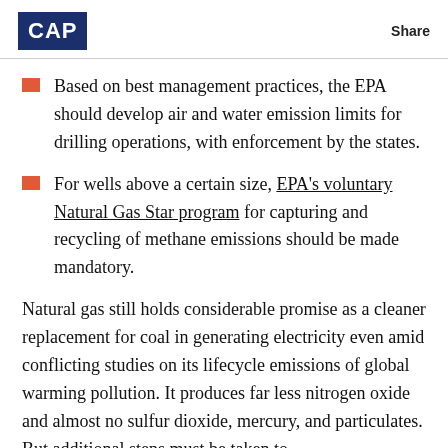CAP   Share
Based on best management practices, the EPA should develop air and water emission limits for drilling operations, with enforcement by the states.
For wells above a certain size, EPA's voluntary Natural Gas Star program for capturing and recycling of methane emissions should be made mandatory.
Natural gas still holds considerable promise as a cleaner replacement for coal in generating electricity even amid conflicting studies on its lifecycle emissions of global warming pollution. It produces far less nitrogen oxide and almost no sulfur dioxide, mercury, and particulates. But additional steps must be taken to